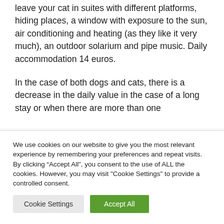leave your cat in suites with different platforms, hiding places, a window with exposure to the sun, air conditioning and heating (as they like it very much), an outdoor solarium and pipe music. Daily accommodation 14 euros.
In the case of both dogs and cats, there is a decrease in the daily value in the case of a long stay or when there are more than one
We use cookies on our website to give you the most relevant experience by remembering your preferences and repeat visits. By clicking “Accept All”, you consent to the use of ALL the cookies. However, you may visit "Cookie Settings" to provide a controlled consent.